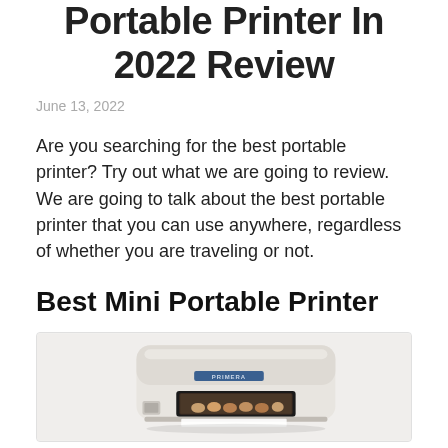Portable Printer In 2022 Review
June 13, 2022
Are you searching for the best portable printer? Try out what we are going to review. We are going to talk about the best portable printer that you can use anywhere, regardless of whether you are traveling or not.
Best Mini Portable Printer
[Figure (photo): White portable photo printer (Primera brand) with a screen showing a group photo, viewed from a slight angle.]